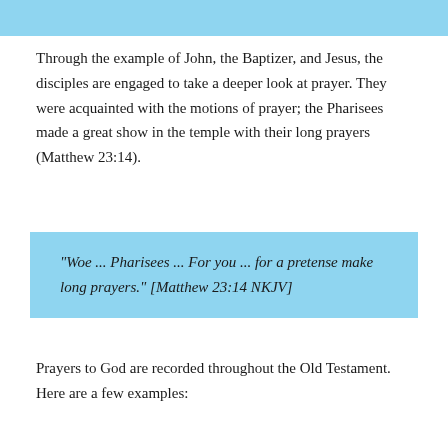Through the example of John, the Baptizer, and Jesus, the disciples are engaged to take a deeper look at prayer. They were acquainted with the motions of prayer; the Pharisees made a great show in the temple with their long prayers (Matthew 23:14).
“Woe … Pharisees … For you … for a pretense make long prayers.” [Matthew 23:14 NKJV]
Prayers to God are recorded throughout the Old Testament. Here are a few examples: